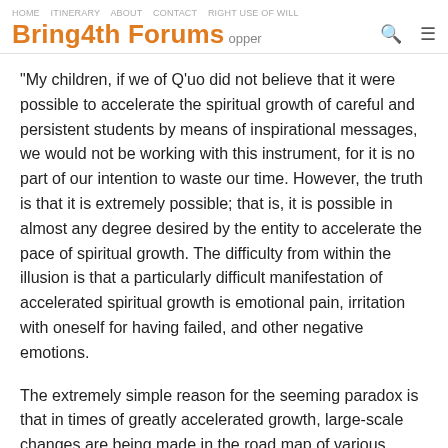HOME  |  ...  Bring4th Forums  [search] [menu]
"My children, if we of Q'uo did not believe that it were possible to accelerate the spiritual growth of careful and persistent students by means of inspirational messages, we would not be working with this instrument, for it is no part of our intention to waste our time. However, the truth is that it is extremely possible; that is, it is possible in almost any degree desired by the entity to accelerate the pace of spiritual growth. The difficulty from within the illusion is that a particularly difficult manifestation of accelerated spiritual growth is emotional pain, irritation with oneself for having failed, and other negative emotions.
The extremely simple reason for the seeming paradox is that in times of greatly accelerated growth, large-scale changes are being made in the road map of various portions of the program and metaprogram of the mind, and,